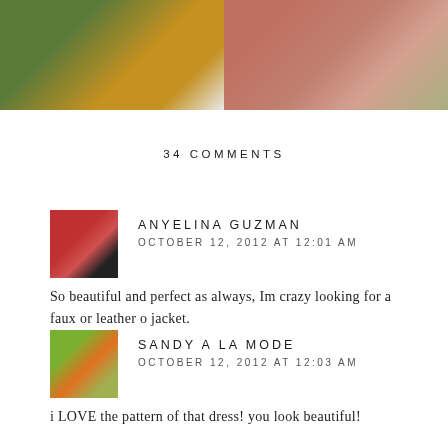[Figure (photo): Two fashion photos side by side at the top: left shows a person in a mustard/tan outfit against green hedge background; right shows a person in a pink/rose dress against outdoor background]
34 COMMENTS
ANYELINA GUZMAN
OCTOBER 12, 2012 AT 12:01 AM
So beautiful and perfect as always, Im crazy looking for a faux or leather o jacket.
REPLY
SANDY A LA MODE
OCTOBER 12, 2012 AT 12:03 AM
i LOVE the pattern of that dress! you look beautiful!

xo,
Sandy